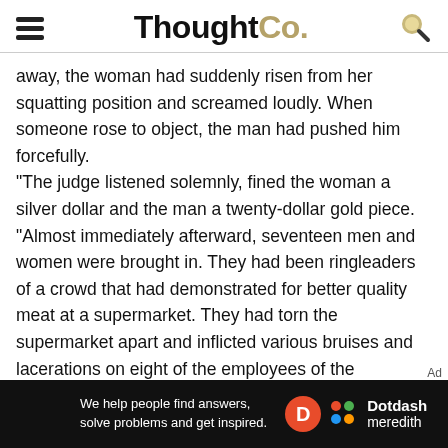ThoughtCo.
away, the woman had suddenly risen from her squatting position and screamed loudly. When someone rose to object, the man had pushed him forcefully.
"The judge listened solemnly, fined the woman a silver dollar and the man a twenty-dollar gold piece.
"Almost immediately afterward, seventeen men and women were brought in. They had been ringleaders of a crowd that had demonstrated for better quality meat at a supermarket. They had torn the supermarket apart and inflicted various bruises and lacerations on eight of the employees of the establishment.
"Again the judge listened solemnly and fined the seventeen a silver dollar apiece.
[Figure (logo): Dotdash Meredith advertisement banner with text 'We help people find answers, solve problems and get inspired.']